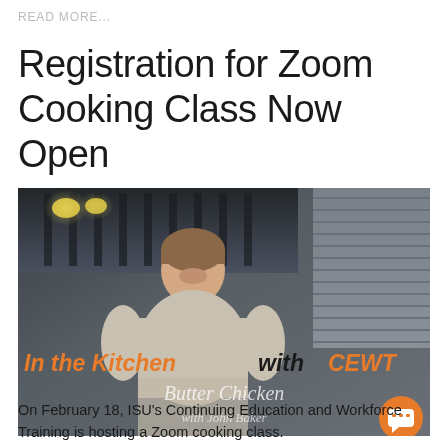READ MORE...
Registration for Zoom Cooking Class Now Open
[Figure (photo): A man smiling in a professional kitchen, with overlay text reading 'In the Kitchen with CEWT' in orange and black italic bold font, and script text 'Butter Chicken with John Baker' below]
On February 18, ISU's Continuing Education and Workforce Training is hosting a Zoom cooking class.